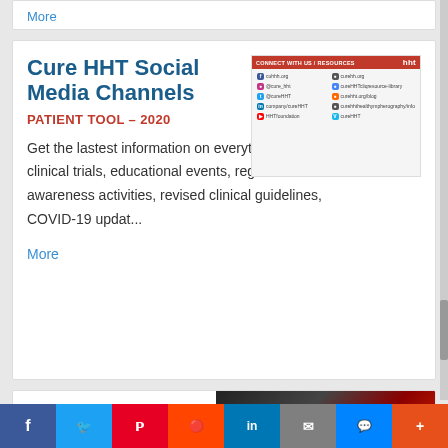More
Cure HHT Social Media Channels
PATIENT TOOL – 2020
[Figure (infographic): Cure HHT social media channels resource panel showing Connect With Us / Resources header in red, HHT logo, and grid of social media platform icons and links including Facebook, Instagram, Twitter, LinkedIn, YouTube, and others]
Get the lastest information on everything HHT – clinical trials, educational events, regional awareness activities, revised clinical guidelines, COVID-19 updat...
More
COVID-19 Fact
[Figure (photo): Coronavirus red spiky virus particle image with 'Coronavirus' text overlay on dark background with German flag colors]
Social share bar: Facebook, Twitter, Pinterest, Reddit, LinkedIn, Email, Messenger, More